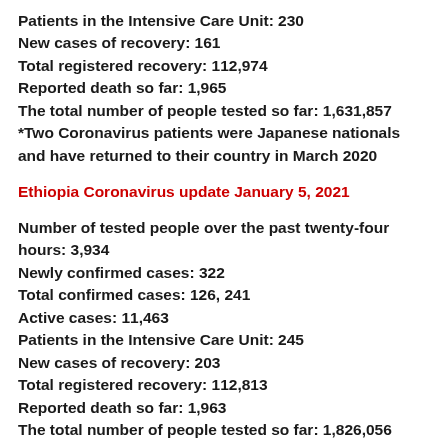Patients in the Intensive Care Unit: 230
New cases of recovery: 161
Total registered recovery: 112,974
Reported death so far: 1,965
The total number of people tested so far: 1,631,857
*Two Coronavirus patients were Japanese nationals and have returned to their country in March 2020
Ethiopia Coronavirus update January 5, 2021
Number of tested people over the past twenty-four hours: 3,934
Newly confirmed cases: 322
Total confirmed cases: 126, 241
Active cases: 11,463
Patients in the Intensive Care Unit: 245
New cases of recovery: 203
Total registered recovery: 112,813
Reported death so far: 1,963
The total number of people tested so far: 1,826,056